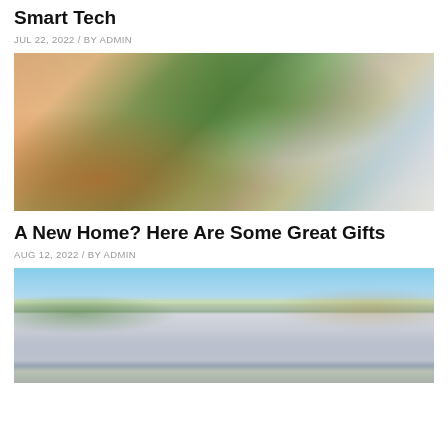How to Reduce Your Monthly Bills Using Smart Tech
JUL 22, 2022 / BY ADMIN
[Figure (photo): Close-up photo of a person spraying indoor houseplants near a window with warm orange and green tones]
A New Home? Here Are Some Great Gifts
AUG 12, 2022 / BY ADMIN
[Figure (photo): Exterior photo of a large blue and white two-story house with brown roof, two-car garage, and landscaped front yard under blue sky]